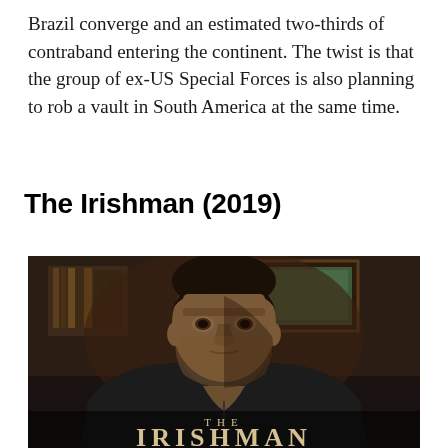Brazil converge and an estimated two-thirds of contraband entering the continent. The twist is that the group of ex-US Special Forces is also planning to rob a vault in South America at the same time.
The Irishman (2019)
[Figure (photo): Movie still from The Irishman (2019) showing an older man in a dark leather jacket with a serious expression, in a dimly lit room. The title 'THE IRISHMAN' appears at the bottom of the image.]